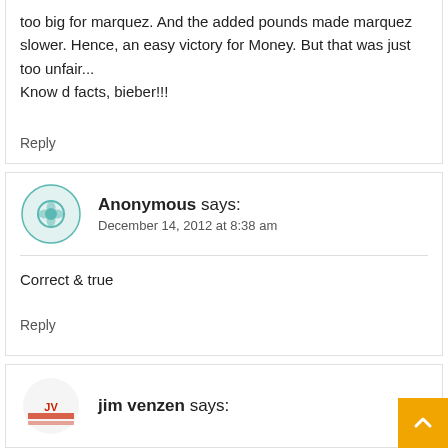too big for marquez. And the added pounds made marquez slower. Hence, an easy victory for Money. But that was just too unfair...
Know d facts, bieber!!!
Reply
Anonymous says:
December 14, 2012 at 8:38 am
Correct & true
Reply
jim venzen says: